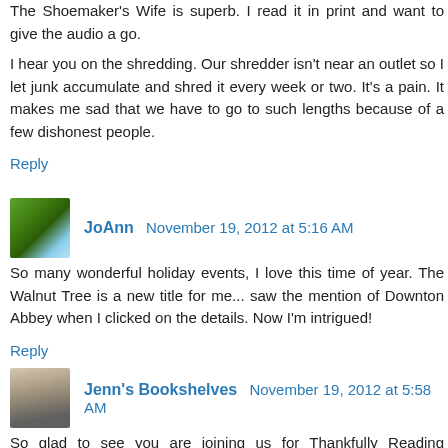The Shoemaker's Wife is superb. I read it in print and want to give the audio a go.
I hear you on the shredding. Our shredder isn't near an outlet so I let junk accumulate and shred it every week or two. It's a pain. It makes me sad that we have to go to such lengths because of a few dishonest people.
Reply
JoAnn  November 19, 2012 at 5:16 AM
So many wonderful holiday events, I love this time of year. The Walnut Tree is a new title for me... saw the mention of Downton Abbey when I clicked on the details. Now I'm intrigued!
Reply
Jenn's Bookshelves  November 19, 2012 at 5:58 AM
So glad to see you are joining us for Thankfully Reading Weekend!